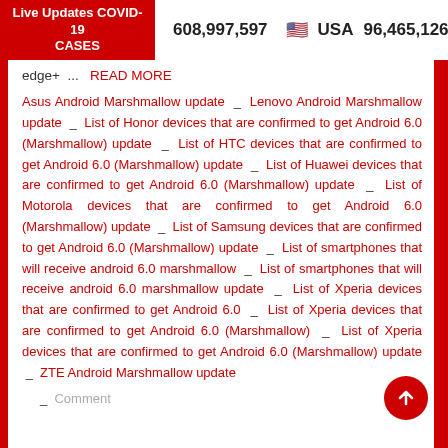Live Updates COVID-19 CASES  608,997,597  USA 96,465,126
edge+ ...  READ MORE
Asus Android Marshmallow update _ Lenovo Android Marshmallow update _ List of Honor devices that are confirmed to get Android 6.0 (Marshmallow) update _ List of HTC devices that are confirmed to get Android 6.0 (Marshmallow) update _ List of Huawei devices that are confirmed to get Android 6.0 (Marshmallow) update _ List of Motorola devices that are confirmed to get Android 6.0 (Marshmallow) update _ List of Samsung devices that are confirmed to get Android 6.0 (Marshmallow) update _ List of smartphones that will receive android 6.0 marshmallow _ List of smartphones that will receive android 6.0 marshmallow update _ List of Xperia devices that are confirmed to get Android 6.0 _ List of Xperia devices that are confirmed to get Android 6.0 (Marshmallow) _ List of Xperia devices that are confirmed to get Android 6.0 (Marshmallow) update _ ZTE Android Marshmallow update
_ Comment